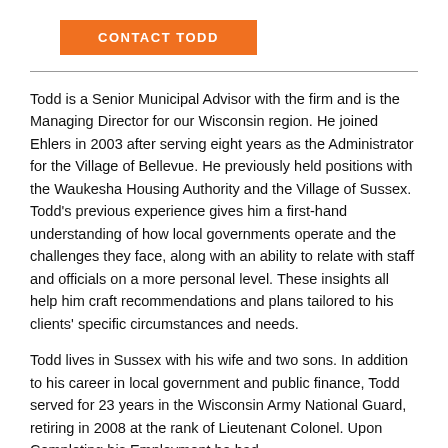[Figure (other): Orange button labeled CONTACT TODD]
Todd is a Senior Municipal Advisor with the firm and is the Managing Director for our Wisconsin region. He joined Ehlers in 2003 after serving eight years as the Administrator for the Village of Bellevue. He previously held positions with the Waukesha Housing Authority and the Village of Sussex. Todd's previous experience gives him a first-hand understanding of how local governments operate and the challenges they face, along with an ability to relate with staff and officials on a more personal level. These insights all help him craft recommendations and plans tailored to his clients' specific circumstances and needs.
Todd lives in Sussex with his wife and two sons. In addition to his career in local government and public finance, Todd served for 23 years in the Wisconsin Army National Guard, retiring in 2008 at the rank of Lieutenant Colonel. Upon Completing his Employment he had...